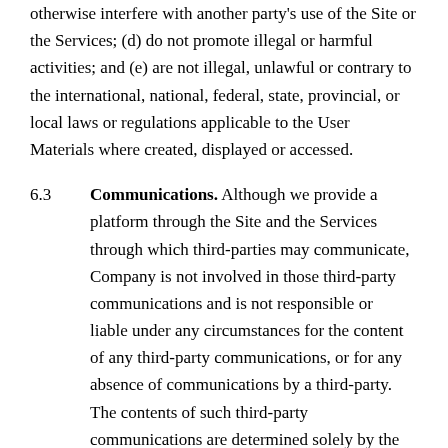otherwise interfere with another party's use of the Site or the Services; (d) do not promote illegal or harmful activities; and (e) are not illegal, unlawful or contrary to the international, national, federal, state, provincial, or local laws or regulations applicable to the User Materials where created, displayed or accessed.
6.3 Communications. Although we provide a platform through the Site and the Services through which third-parties may communicate, Company is not involved in those third-party communications and is not responsible or liable under any circumstances for the content of any third-party communications, or for any absence of communications by a third-party. The contents of such third-party communications are determined solely by the third-party responsible for the communications, and not Company. We are not responsible for the content of information in such